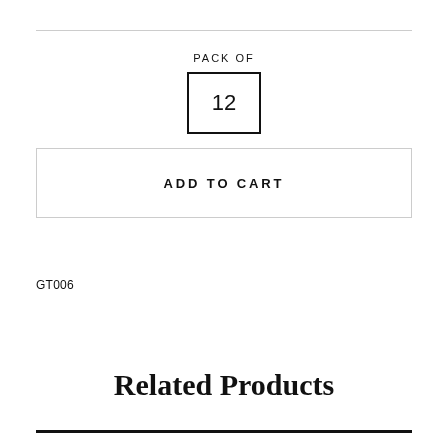PACK OF
12
ADD TO CART
GT006
Related Products